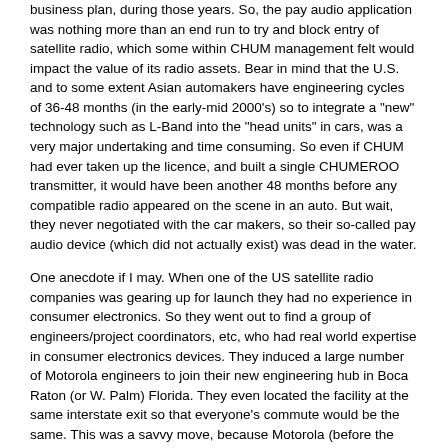business plan, during those years.  So, the pay audio application was nothing more than an end run to try and block entry of satellite radio, which some within CHUM management felt would impact the value of its radio assets.  Bear in mind that the U.S. and to some extent Asian automakers have engineering cycles of 36-48 months (in the early-mid 2000's) so to integrate a "new" technology such as L-Band into the "head units" in cars, was a very major undertaking and time consuming.  So even if CHUM had ever taken up the licence, and built a single CHUMEROO transmitter, it would have been another 48 months before any compatible radio appeared on the scene in an auto.  But wait, they never negotiated with the car makers, so their so-called pay audio device (which did not actually exist) was dead in the water.
One anecdote if I may.   When one of the US satellite radio companies was gearing up for launch they had no experience in consumer electronics.  So they went out to find a group of engineers/project coordinators, etc, who had real world expertise in consumer electronics devices.  They induced a large number of Motorola engineers to join their new engineering hub in Boca Raton (or W. Palm) Florida.  They even located the facility at the same interstate exit so that everyone's commute would be the same.  This was a savvy move, because Motorola (before the iphone) had a commanding market share of digital devices.  I have actually been to that facility in Florida.  They could not afford to "fail" with a poorly engineered chipset or retrofit device.   There is a very long story as to why this was such an important decision...but I digress.   And history will show that it was not a bad decision.  Household names who at that time commanded major market share in consumer electronics, such as Sony...were some of the initial "partners".  On the other hand, Duff Roman and his "DAB" colleagues in Canada had no consumer product engineering infrastructure and no real ties to manufacturers.  They were dependent on a single automaker, who in